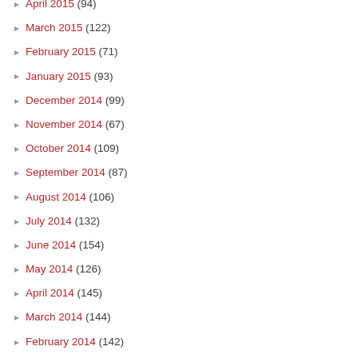April 2015 (94)
March 2015 (122)
February 2015 (71)
January 2015 (93)
December 2014 (99)
November 2014 (67)
October 2014 (109)
September 2014 (87)
August 2014 (106)
July 2014 (132)
June 2014 (154)
May 2014 (126)
April 2014 (145)
March 2014 (144)
February 2014 (142)
January 2014 (185)
December 2013 (192)